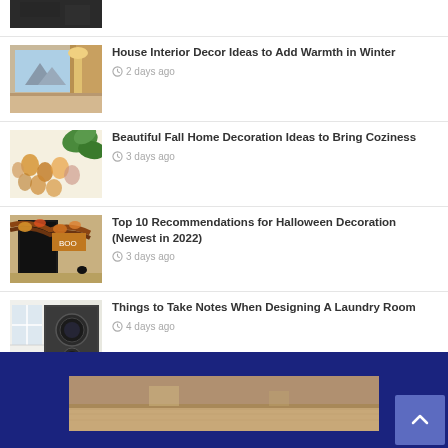[Figure (photo): Partial thumbnail of article at top of list, cut off]
House Interior Decor Ideas to Add Warmth in Winter · 2 days ago
Beautiful Fall Home Decoration Ideas to Bring Coziness · 3 days ago
Top 10 Recommendations for Halloween Decoration (Newest in 2022) · 3 days ago
Things to Take Notes When Designing A Laundry Room · 4 days ago
[Figure (photo): Footer area with partial interior room image and back-to-top button]